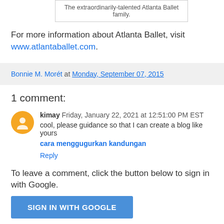The extraordinarily-talented Atlanta Ballet family.
For more information about Atlanta Ballet, visit www.atlantaballet.com.
Bonnie M. Morét at Monday, September 07, 2015
1 comment:
kimay Friday, January 22, 2021 at 12:51:00 PM EST
cool, please guidance so that I can create a blog like yours
cara menggugurkan kandungan
Reply
To leave a comment, click the button below to sign in with Google.
SIGN IN WITH GOOGLE